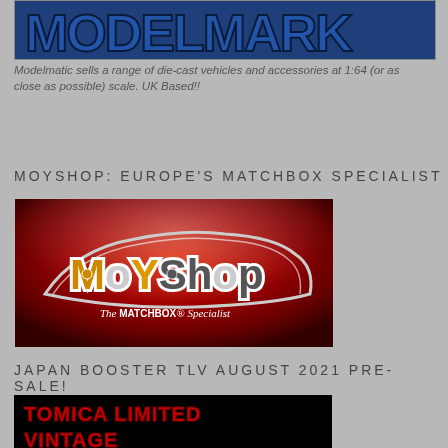[Figure (logo): Modelmatic logo - large dark blue stylized text on blue background, partially cropped at top]
Modelmatic sells a range of die-cast vehicles and accessories at 1:64 (or as close as possible) scale. UK Based!!
MOYSHOP: EUROPE'S MATCHBOX SPECIALIST
[Figure (logo): MoYShop logo - red car silhouette shape with MoYShop text in gold/orange and silver, subtitle reads 'The MATCHBOX Specialist']
JAPAN BOOSTER TLV AUGUST 2021 PRE-SALE!
[Figure (photo): Tomica Limited Vintage promotional image - black background with red text reading 'TOMICA LIMITED VINTAGE']